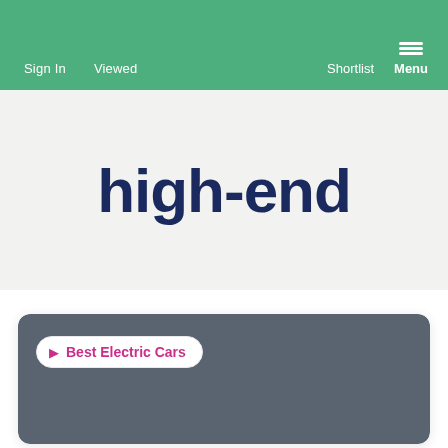Sign In   Viewed   Shortlist   Menu
high-end
[Figure (screenshot): Dark grey card with a white pill-shaped badge reading '⊳ Best Electric Cars' in magenta/pink text]